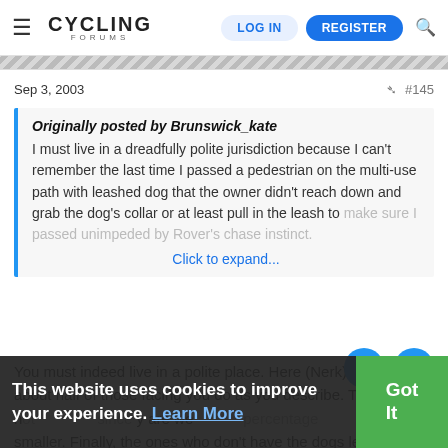Cycling Forums — LOG IN | REGISTER
Sep 3, 2003  #145
Originally posted by Brunswick_kate
I must live in a dreadfully polite jurisdiction because I can't remember the last time I passed a pedestrian on the multi-use path with leashed dog that the owner didn't reach down and grab the dog's collar or at least pull in the leash to make sure I passed unimpeded by Rover's chase instinct.
Click to expand...
You must indeed live in a polite place. Here (Ne...rk) about half of those facing you do as you describe. The ones n...not since y are we...percentage It smaller. Finally, the ones who don't have the dogs leashed,
This website uses cookies to improve your experience. Learn More  Got It